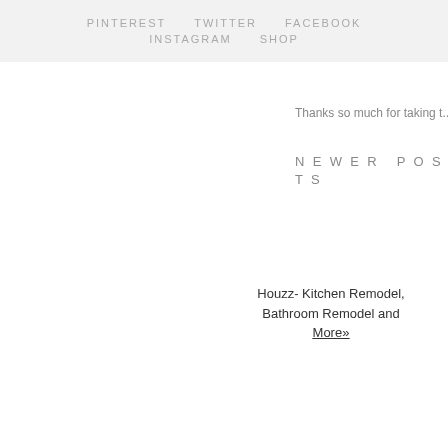PINTEREST   TWITTER   FACEBOOK   INSTAGRAM   SHOP
[Figure (screenshot): Houzz widget showing a kitchen/bathroom photo with a glass jar on a wooden surface, with a green Houzz logo bar at bottom showing 'view m...' text and navigation arrows]
Houzz- Kitchen Remodel, Bathroom Remodel and More»
Thanks so much for taking t...
NEWER POSTS